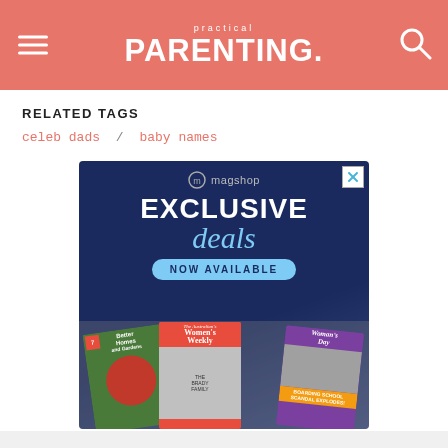practical PARENTING.
RELATED TAGS
celeb dads  /  baby names
[Figure (screenshot): Magshop advertisement banner with dark blue background showing 'EXCLUSIVE deals NOW AVAILABLE' text and magazine covers including Better Homes and Gardens, Women's Weekly, and Woman's Day with 'BOARDING SCHOOL SCANDAL EXPLODES!' headline]